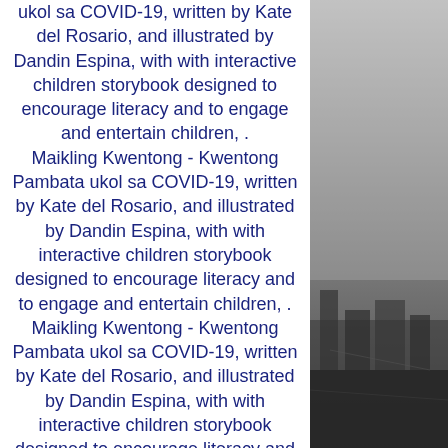ukol sa COVID-19, written by Kate del Rosario, and illustrated by Dandin Espina, with with interactive children storybook designed to encourage literacy and to engage and entertain children, . Maikling Kwentong - Kwentong Pambata ukol sa COVID-19, written by Kate del Rosario, and illustrated by Dandin Espina, with with interactive children storybook designed to encourage literacy and to engage and entertain children, . Maikling Kwentong - Kwentong Pambata ukol sa COVID-19, written by Kate del Rosario, and illustrated by Dandin Espina, with with interactive children storybook designed to encourage literacy and to engage and entertain children, . Maikling Kwento - Kwentong Pambata ukol sa COVID-19, written by Kate del Rosario, and illustrated by Dandin Espina, with with interactive children storybook designed to encourage literacy and to engage and entertain children,
[Figure (photo): Black and white aerial/cityscape photograph on the right side of the page, showing an urban or industrial landscape from above, in grayscale tones.]